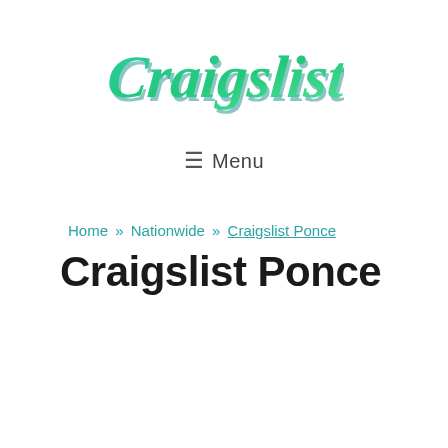[Figure (logo): Craigslistt logo in green cursive script with shadow effect]
☰ Menu
Home » Nationwide » Craigslist Ponce
Craigslist Ponce